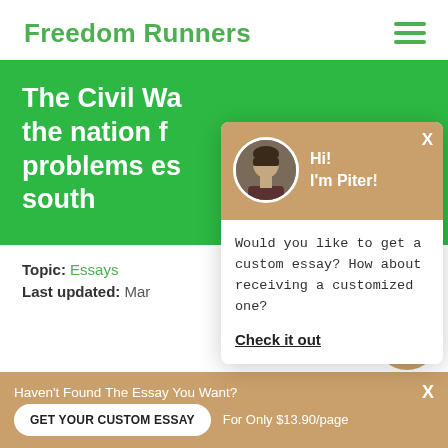Freedom Runners
The Civil War the nation f problems es south
Topic: Essays
Last updated: Mar
[Figure (screenshot): Chat popup with avatar of Piter, greeting 'Hi! I'm Piter!', message 'Would you like to get a custom essay? How about receiving a customized one?' and 'Check it out' link]
Haven't Found The Essay You Want?
GET YOUR CUSTOM ESSAY   For Only $13.90/page